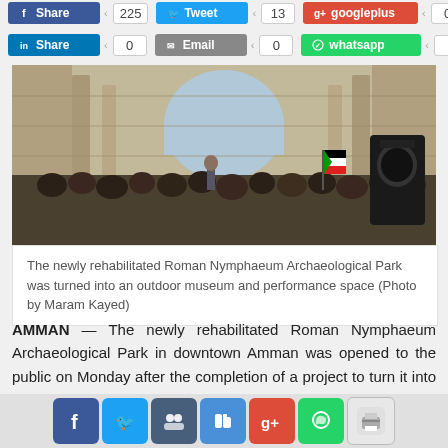[Figure (other): Social media share buttons row 1: Facebook Share (225), Tweet (13), Google+ (0)]
[Figure (other): Social media share buttons row 2: LinkedIn Share (0), Email (0), WhatsApp (0)]
[Figure (photo): Outdoor gathering at the Roman Nymphaeum Archaeological Park in downtown Amman, with ancient stone columns and an arch visible behind a crowd of people and a speaker at a podium, with a Jordanian flag and a large speaker system visible.]
The newly rehabilitated Roman Nymphaeum Archaeological Park was turned into an outdoor museum and performance space (Photo by Maram Kayed)
AMMAN — The newly rehabilitated Roman Nymphaeum Archaeological Park in downtown Amman was opened to the public on Monday after the completion of a project to turn it into an outdoor museum and performance space.
[Figure (other): Bottom social sharing bar with icons for Facebook, Twitter, Myspace, Digg, Google+, WhatsApp, and Print]